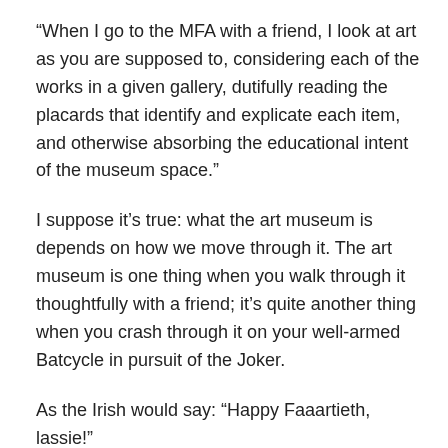“When I go to the MFA with a friend, I look at art as you are supposed to, considering each of the works in a given gallery, dutifully reading the placards that identify and explicate each item, and otherwise absorbing the educational intent of the museum space.”
I suppose it’s true: what the art museum is depends on how we move through it. The art museum is one thing when you walk through it thoughtfully with a friend; it’s quite another thing when you crash through it on your well-armed Batcycle in pursuit of the Joker.
As the Irish would say: “Happy Faaartieth, lassie!”